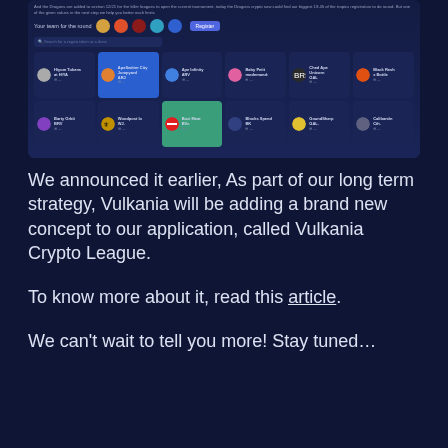[Figure (screenshot): Screenshot of Vulkania Crypto League application interface showing team avatars, a register button, a search bar, and a grid of crypto project cards with icons and names.]
We announced it earlier, As part of our long term strategy, Vulkania will be adding a brand new concept to our application, called Vulkania Crypto League.
To know more about it, read this article.
We can't wait to tell you more! Stay tuned…